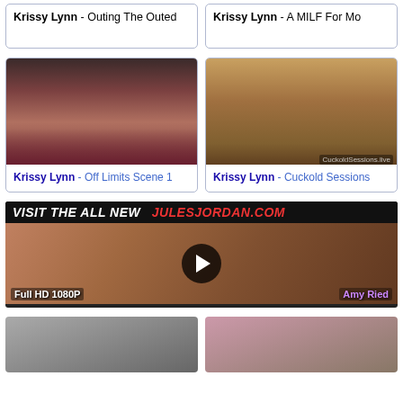Krissy Lynn - Outing The Outed
Krissy Lynn - A MILF For Mo
[Figure (photo): Thumbnail photo for Krissy Lynn Off Limits Scene 1]
Krissy Lynn - Off Limits Scene 1
[Figure (photo): Thumbnail photo for Krissy Lynn Cuckold Sessions]
Krissy Lynn - Cuckold Sessions
[Figure (screenshot): Advertisement banner: VISIT THE ALL NEW JULESJORDAN.COM - Full HD 1080P - Amy Ried]
[Figure (photo): Partial thumbnail bottom left]
[Figure (photo): Partial thumbnail bottom right]